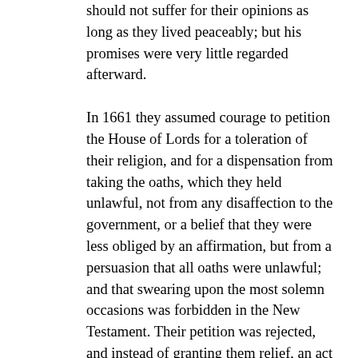should not suffer for their opinions as long as they lived peaceably; but his promises were very little regarded afterward.

In 1661 they assumed courage to petition the House of Lords for a toleration of their religion, and for a dispensation from taking the oaths, which they held unlawful, not from any disaffection to the government, or a belief that they were less obliged by an affirmation, but from a persuasion that all oaths were unlawful; and that swearing upon the most solemn occasions was forbidden in the New Testament. Their petition was rejected, and instead of granting them relief, an act was passed against them, the preamble to which set forth, "That whereas several persons have taken up an opinion that an oath, even before a magistrate, is unlawful, and contrary to the Word of God; and whereas, under pretence of religious worship, the said persons do assemble in great numbers in several parts of the kingdom, separating themselves from the rest of his majesty's subjects, and the public congregations and usual places of divine worship; be it therefore enacted, that if any such persons, after the twenty-fourth of March, 1661-2, shall refuse to take an oath when lawfully tendered, or